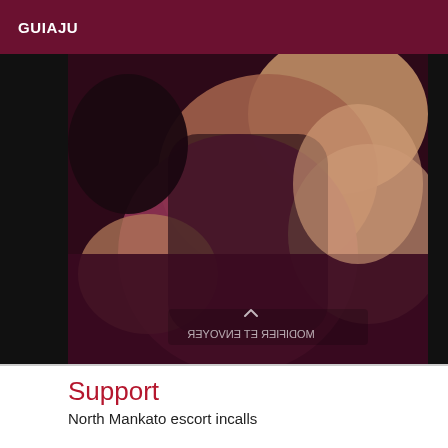GUIAJU
[Figure (photo): A close-up photo with a mirrored/reversed watermark text reading 'MODIFIER ET ENVOYER' with an upward chevron icon, dark maroon tones.]
Support
North Mankato escort incalls